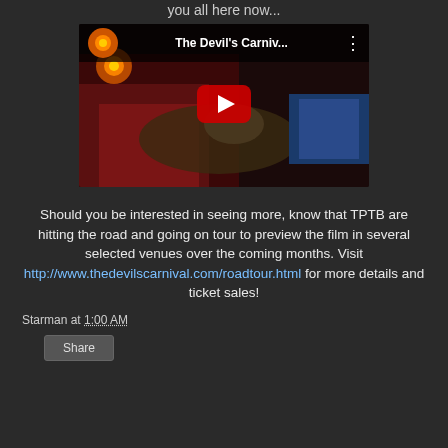you all here now...
[Figure (screenshot): Embedded YouTube video thumbnail showing 'The Devil's Carniv...' with a red play button over a dark cinematic scene of a person lying down.]
Should you be interested in seeing more, know that TPTB are hitting the road and going on tour to preview the film in several selected venues over the coming months. Visit http://www.thedevilscarnival.com/roadtour.html for more details and ticket sales!
Starman at 1:00 AM
Share